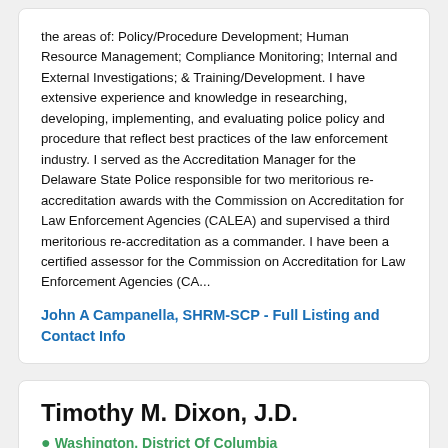the areas of: Policy/Procedure Development; Human Resource Management; Compliance Monitoring; Internal and External Investigations; & Training/Development. I have extensive experience and knowledge in researching, developing, implementing, and evaluating police policy and procedure that reflect best practices of the law enforcement industry. I served as the Accreditation Manager for the Delaware State Police responsible for two meritorious re-accreditation awards with the Commission on Accreditation for Law Enforcement Agencies (CALEA) and supervised a third meritorious re-accreditation as a commander. I have been a certified assessor for the Commission on Accreditation for Law Enforcement Agencies (CA...
John A Campanella, SHRM-SCP - Full Listing and Contact Info
Timothy M. Dixon, J.D.
Washington, District Of Columbia
Law Enf & Criminal Justice, Police Practices &